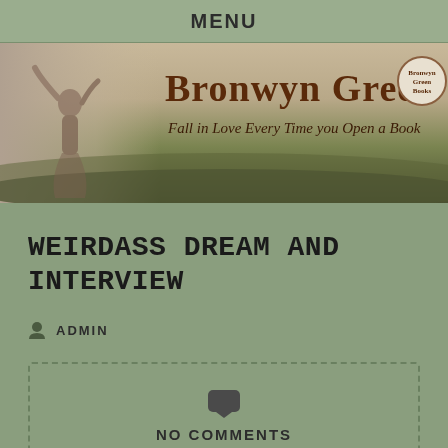MENU
[Figure (illustration): Bronwyn Green website banner with a woman figure in a field, text reading 'Bronwyn Green' and subtitle 'Fall in Love Every Time you Open a Book', with a circular logo in the top right corner.]
WEIRDASS DREAM AND INTERVIEW
ADMIN
NO COMMENTS